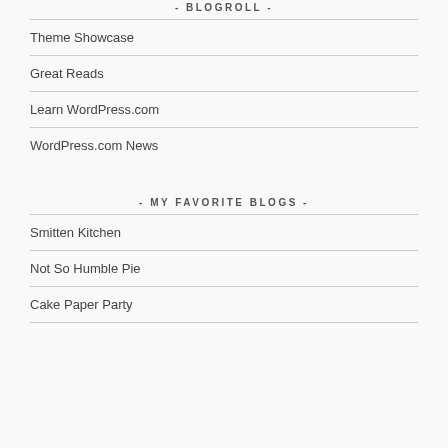- BLOGROLL -
Theme Showcase
Great Reads
Learn WordPress.com
WordPress.com News
- MY FAVORITE BLOGS -
Smitten Kitchen
Not So Humble Pie
Cake Paper Party